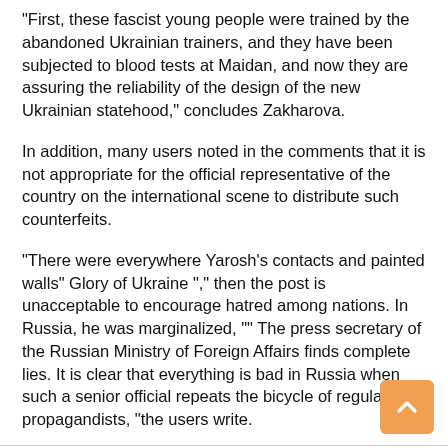"First, these fascist young people were trained by the abandoned Ukrainian trainers, and they have been subjected to blood tests at Maidan, and now they are assuring the reliability of the design of the new Ukrainian statehood," concludes Zakharova.
In addition, many users noted in the comments that it is not appropriate for the official representative of the country on the international scene to distribute such counterfeits.
"There were everywhere Yarosh's contacts and painted walls" Glory of Ukraine "," then the post is unacceptable to encourage hatred among nations. In Russia, he was marginalized, "" The press secretary of the Russian Ministry of Foreign Affairs finds complete lies. It is clear that everything is bad in Russia when such a senior official repeats the bicycle of regular TV propagandists, "the users write.